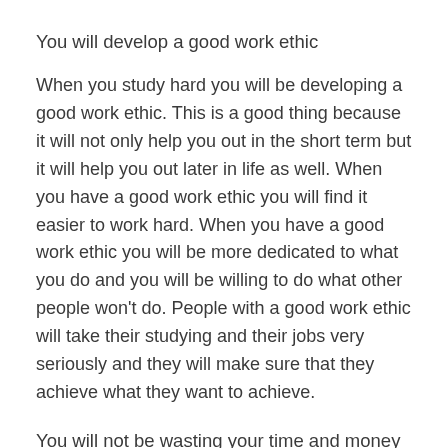You will develop a good work ethic
When you study hard you will be developing a good work ethic. This is a good thing because it will not only help you out in the short term but it will help you out later in life as well. When you have a good work ethic you will find it easier to work hard. When you have a good work ethic you will be more dedicated to what you do and you will be willing to do what other people won't do. People with a good work ethic will take their studying and their jobs very seriously and they will make sure that they achieve what they want to achieve.
You will not be wasting your time and money